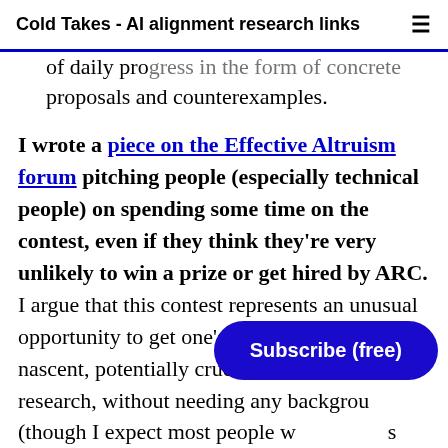Cold Takes - AI alignment research links
of daily progress in the form of concrete proposals and counterexamples.
I wrote a piece on the Effective Altruism forum pitching people (especially technical people) on spending some time on the contest, even if they think they’re very unlikely to win a prize or get hired by ARC. I argue that this contest represents an unusual opportunity to get one’s head into an esoteric, nascent, potentially crucial area of AI research, without needing any background (though I expect most people w... to have some general technical background and
Subscribe (free)